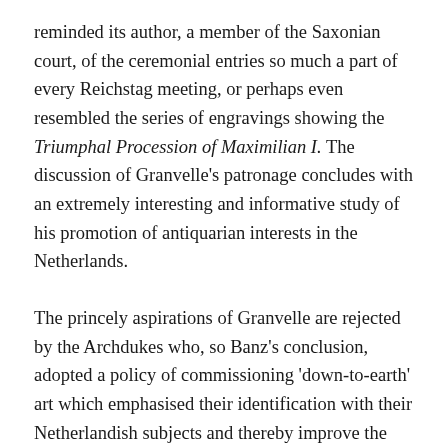reminded its author, a member of the Saxonian court, of the ceremonial entries so much a part of every Reichstag meeting, or perhaps even resembled the series of engravings showing the Triumphal Procession of Maximilian I. The discussion of Granvelle's patronage concludes with an extremely interesting and informative study of his promotion of antiquarian interests in the Netherlands.
The princely aspirations of Granvelle are rejected by the Archdukes who, so Banz's conclusion, adopted a policy of commissioning 'down-to-earth' art which emphasised their identification with their Netherlandish subjects and thereby improve the reputation of the Habsburg dynasty so tarnished by political and religious events. Thus paintings by Jan Brueghel the Younger and Denijs van Alsloot showed